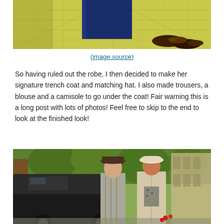[Figure (photo): Top portion of a photo showing a yellow-green tiled floor with a dark blue object and a pair of brown shoes visible at the bottom right]
(image source)
So having ruled out the robe, I then decided to make her signature trench coat and matching hat. I also made trousers, a blouse and a camisole to go under the coat! Fair warning this is a long post with lots of photos! Feel free to skip to the end to look at the finished look!
[Figure (photo): A period drama scene showing a man in a suit and fedora hat and a woman in a light trench coat and cloche hat walking on a street beside an old car]